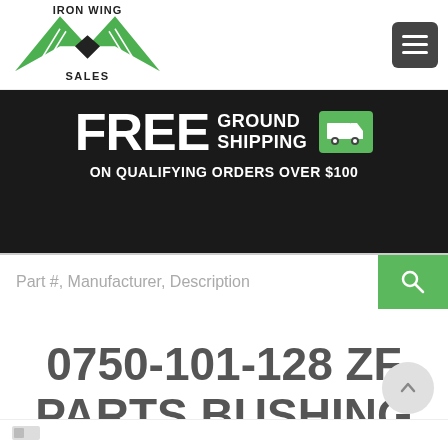[Figure (logo): Iron Wing Sales logo with green wing shapes and road lines]
[Figure (infographic): Free ground shipping banner on dark background with truck icon. Text: FREE GROUND SHIPPING ON QUALIFYING ORDERS OVER $100]
[Figure (screenshot): Search bar with placeholder text: Part #, Manufacturer, Description and green search button]
0750-101-128 ZF PARTS BUSHING